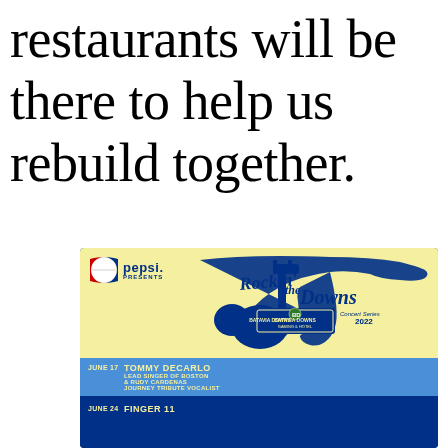restaurants will be there to help us rebuild together.
[Figure (illustration): Concert event flyer for 'Rockin' the Downs Concert Series 2022' presented by Pepsi at Batavia Downs Gaming & Hotel. Shows blue guitar silhouette on yellow background. Lists: JUNE 17 - Tommy DeCarlo Lead Singer of Boston & Rudy Cardenas Journey Tribute Vocalist; JUNE 24 - Finger 11]